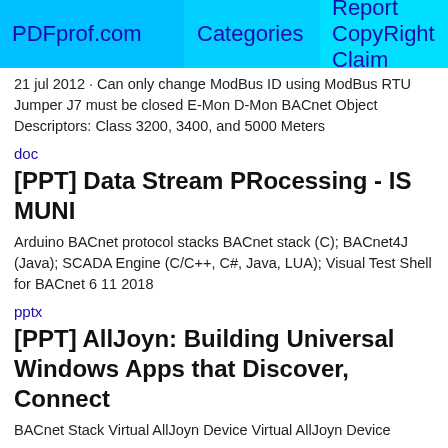PDFprof.com | Categories | Report CopyRight Claim
21 jul 2012 · Can only change ModBus ID using ModBus RTU Jumper J7 must be closed E-Mon D-Mon BACnet Object Descriptors: Class 3200, 3400, and 5000 Meters
doc
[PPT] Data Stream PRocessing - IS MUNI
Arduino BACnet protocol stacks BACnet stack (C); BACnet4J (Java); SCADA Engine (C/C++, C#, Java, LUA); Visual Test Shell for BACnet 6 11 2018
pptx
[PPT] AllJoyn: Building Universal Windows Apps that Discover, Connect
BACnet Stack Virtual AllJoyn Device Virtual AllJoyn Device